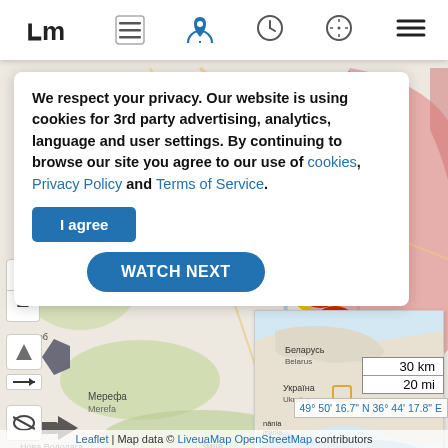[Figure (map): LiveuaMap interactive map showing the Kharkiv region of Ukraine with conflict markers (red bomb/missile icons) along a front line. The map shows cities including Мерефа/Merefa, Зміїв/Zmiiv, Слобожанське/Slobozhanske, Балаклія/Balakliya, Перовмайський/Pervomaiskyi, Ізюм/Izium. Red shading indicates territory. There is a mini overview map of Ukraine/Belarus region in the bottom right. Scale bar shows 30 km / 20 mi.]
We respect your privacy. Our website is using cookies for 3rd party advertising, analytics, language and user settings. By continuing to browse our site you agree to our use of cookies, Privacy Policy and Terms of Service.
I agree
WATCH NEXT
30 km
20 mi
49° 50' 16.7" N 36° 44' 17.8" E
Leaflet | Map data © LiveuaMap OpenStreetMap contributors